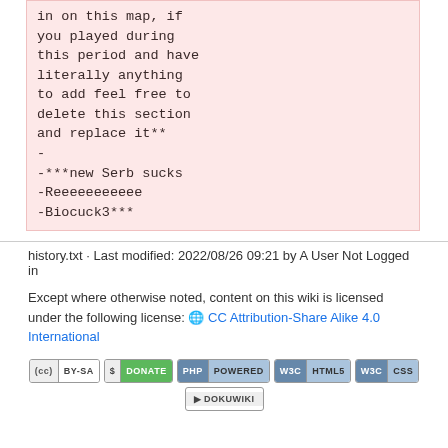in on this map, if you played during this period and have literally anything to add feel free to delete this section and replace it**
-
-***new Serb sucks
-Reeeeeeeeeee
-Biocuck3***
history.txt · Last modified: 2022/08/26 09:21 by A User Not Logged in
Except where otherwise noted, content on this wiki is licensed under the following license: CC Attribution-Share Alike 4.0 International